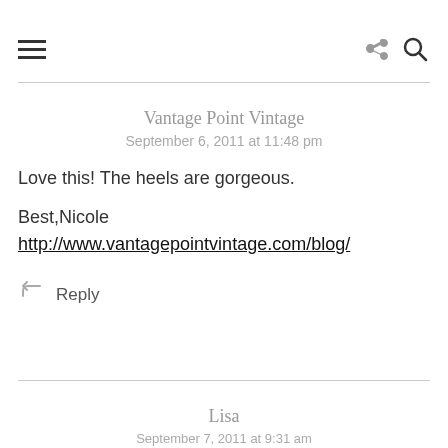≡ [hamburger menu] [share icon] [search icon]
Vantage Point Vintage
September 6, 2011 at 11:48 pm
Love this! The heels are gorgeous.

Best,Nicole
http://www.vantagepointvintage.com/blog/
↩ Reply
Lisa
September 7, 2011 at 9:31 am